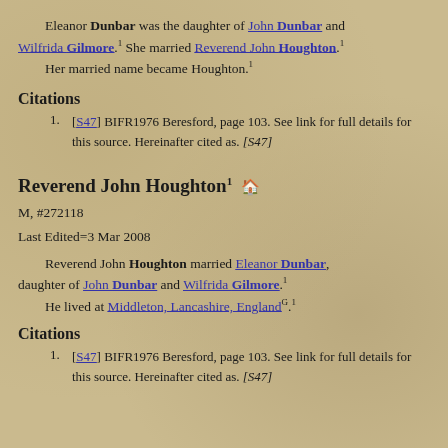Eleanor Dunbar was the daughter of John Dunbar and Wilfrida Gilmore.1 She married Reverend John Houghton.1 Her married name became Houghton.1
Citations
1. [S47] BIFR1976 Beresford, page 103. See link for full details for this source. Hereinafter cited as. [S47]
Reverend John Houghton1
M, #272118
Last Edited=3 Mar 2008
Reverend John Houghton married Eleanor Dunbar, daughter of John Dunbar and Wilfrida Gilmore.1 He lived at Middleton, Lancashire, England G. 1
Citations
1. [S47] BIFR1976 Beresford, page 103. See link for full details for this source. Hereinafter cited as. [S47]